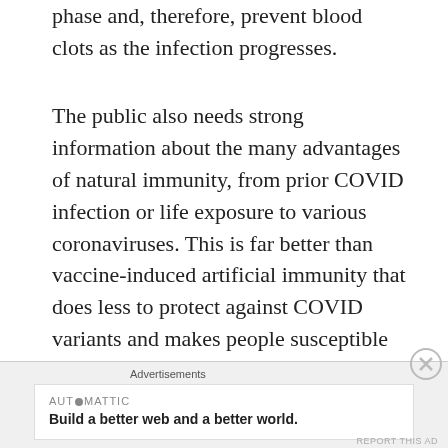phase and, therefore, prevent blood clots as the infection progresses.
The public also needs strong information about the many advantages of natural immunity, from prior COVID infection or life exposure to various coronaviruses. This is far better than vaccine-induced artificial immunity that does less to protect against COVID variants and makes people susceptible to breakthrough infections.
T...
Advertisements
[Figure (other): Automattic advertisement banner with tagline: Build a better web and a better world.]